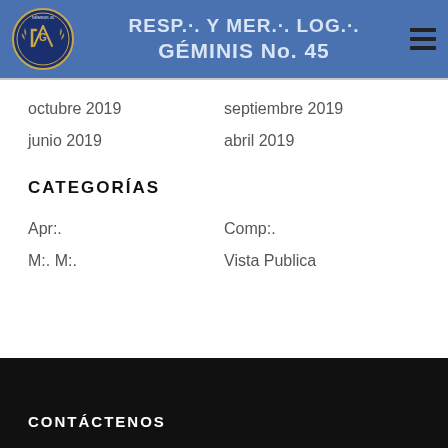RESP.·. Y MER.·. LOG.·. GÉMINIS No. 45
octubre 2019
septiembre 2019
junio 2019
abril 2019
CATEGORÍAS
Apr:.
Comp:.
M:. M:.
Vista Publica
CONTÁCTENOS